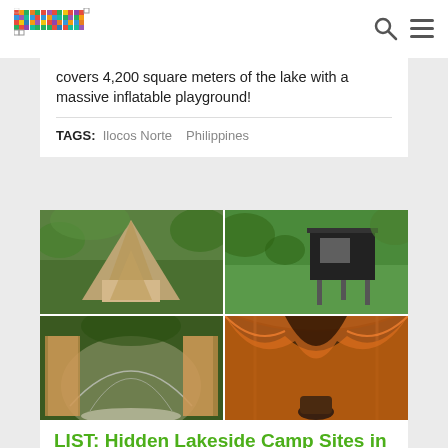[Figure (logo): Primer colorful pixel logo in top left header]
[Figure (infographic): Search icon and hamburger menu icon in top right header]
covers 4,200 square meters of the lake with a massive inflatable playground!
TAGS: Ilocos Norte   Philippines
[Figure (photo): 4-photo collage grid showing glamping/camp sites: top-left: A-frame tent structure with open panels showing interior, surrounded by tropical greenery; top-right: modern black cube cabin on stilts in green landscape; bottom-left: dome tent with sheer curtains in forest setting; bottom-right: interior view of orange draped luxury tent]
LIST: Hidden Lakeside Camp Sites in Cavinti, Laguna for Your Next
Cavinti is one of the best places f...